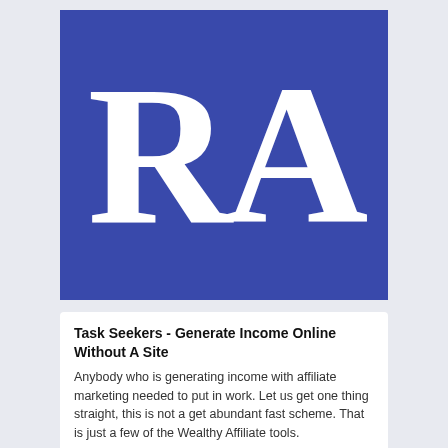[Figure (logo): Blue square logo with large white serif letters 'RA' on a royal blue background]
Task Seekers - Generate Income Online Without A Site
Anybody who is generating income with affiliate marketing needed to put in work. Let us get one thing straight, this is not a get abundant fast scheme. That is just a few of the Wealthy Affiliate tools.
Affiliate marketing programs are often begun with e...